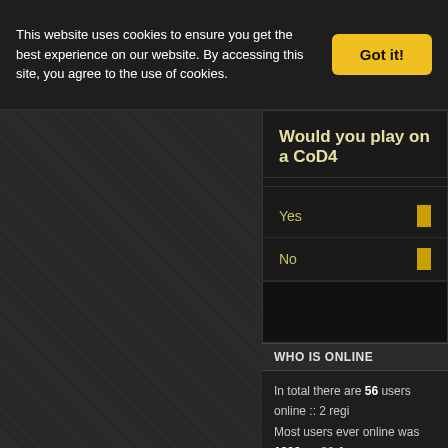This website uses cookies to ensure you get the best experience on our website. By accessing this site, you agree to the use of cookies.
Got it!
Would you play on a CoD4
Yes
No
WHO IS ONLINE
In total there are 56 users online :: 2 regi
Most users ever online was 1209 on 30 J
Registered users: Bing [Bot], Google [B
Legend: Administrators, ETc|Helpmaster,
WORDGRAPH